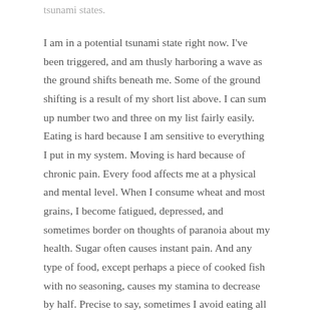tsunami states.
I am in a potential tsunami state right now. I've been triggered, and am thusly harboring a wave as the ground shifts beneath me. Some of the ground shifting is a result of my short list above. I can sum up number two and three on my list fairly easily. Eating is hard because I am sensitive to everything I put in my system. Moving is hard because of chronic pain. Every food affects me at a physical and mental level. When I consume wheat and most grains, I become fatigued, depressed, and sometimes border on thoughts of paranoia about my health. Sugar often causes instant pain. And any type of food, except perhaps a piece of cooked fish with no seasoning, causes my stamina to decrease by half. Precise to say, sometimes I avoid eating all together.